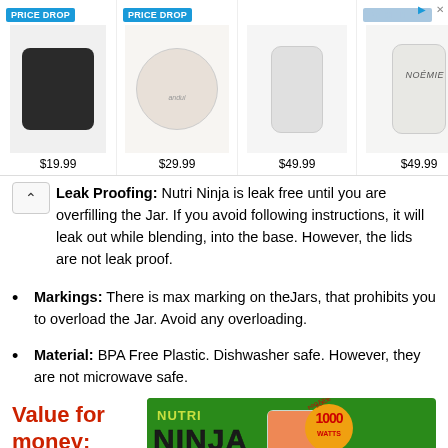[Figure (screenshot): Advertisement banner showing four product items with prices: AirPods case $19.99, round purse $29.99, phone crossbody $49.99, phone case $49.99. Two items have 'PRICE DROP' badges. NOEMIE branding visible.]
Leak Proofing: Nutri Ninja is leak free until you are overfilling the Jar. If you avoid following instructions, it will leak out while blending, into the base. However, the lids are not leak proof.
Markings: There is max marking on theJars, that prohibits you to overload the Jar. Avoid any overloading.
Material: BPA Free Plastic. Dishwasher safe. However, they are not microwave safe.
Value for money:
[Figure (photo): Nutri Ninja 1000 watts blender product image on green background with fruit/vegetable smoothie in jar.]
Nutri Ninja